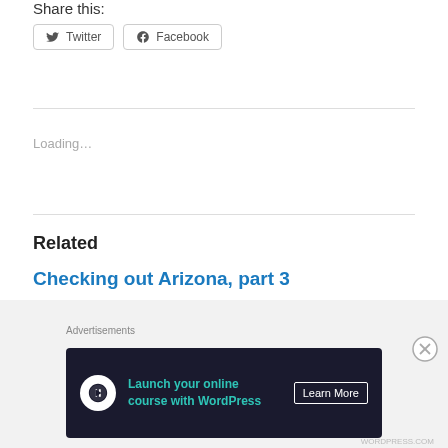Share this:
Twitter  Facebook
Loading…
Related
Checking out Arizona, part 3
August 6, 2021
Advertisements
[Figure (other): Advertisement banner: Launch your online course with WordPress — Learn More button]